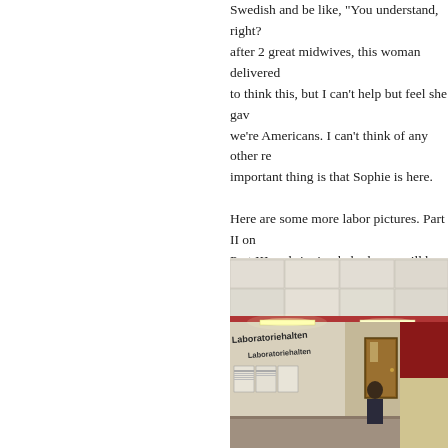Swedish and be like, "You understand, right? after 2 great midwives, this woman delivered to think this, but I can't help but feel she gave we're Americans. I can't think of any other re important thing is that Sophie is here. Here are some more labor pictures. Part II on Part III on bringing baby home will be posted and naps...
[Figure (photo): Indoor hospital corridor photo showing a hallway with signs reading 'Laboratoriehalten' on the wall, fluorescent lighting, posters on the walls, a door at the end, and a person visible in the corridor. Red accent stripe visible near ceiling.]